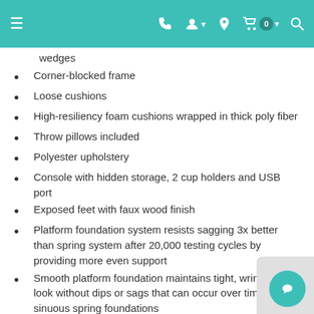Navigation bar with menu, phone, account, location, cart (0), and search icons
wedges (partial, continued from previous)
Corner-blocked frame
Loose cushions
High-resiliency foam cushions wrapped in thick poly fiber
Throw pillows included
Polyester upholstery
Console with hidden storage, 2 cup holders and USB port
Exposed feet with faux wood finish
Platform foundation system resists sagging 3x better than spring system after 20,000 testing cycles by providing more even support
Smooth platform foundation maintains tight, wrinkle-free look without dips or sags that can occur over time with sinuous spring foundations